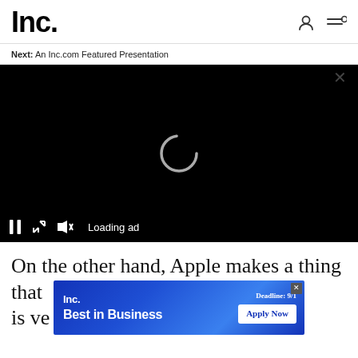Inc.
Next: An Inc.com Featured Presentation
[Figure (screenshot): Black video player with a white loading spinner and controls bar showing pause, fullscreen, mute, and 'Loading ad' text]
On the other hand, Apple makes a thing that is ve... ed
[Figure (infographic): Inc. Best in Business advertisement banner with blue gradient background, deadline 9/1, and Apply Now button]